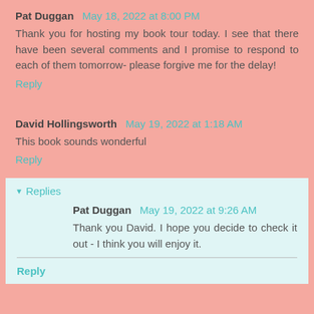Pat Duggan  May 18, 2022 at 8:00 PM
Thank you for hosting my book tour today. I see that there have been several comments and I promise to respond to each of them tomorrow- please forgive me for the delay!
Reply
David Hollingsworth  May 19, 2022 at 1:18 AM
This book sounds wonderful
Reply
▾ Replies
Pat Duggan  May 19, 2022 at 9:26 AM
Thank you David. I hope you decide to check it out - I think you will enjoy it.
Reply